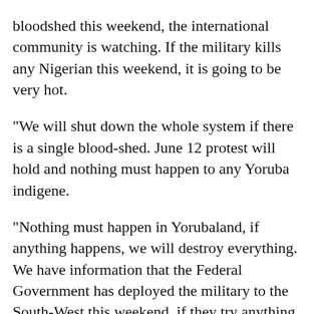bloodshed this weekend, the international community is watching. If the military kills any Nigerian this weekend, it is going to be very hot.
“We will shut down the whole system if there is a single blood-shed. June 12 protest will hold and nothing must happen to any Yoruba indigene.
“Nothing must happen in Yorubaland, if anything happens, we will destroy everything. We have information that the Federal Government has deployed the military to the South-West this weekend, if they try anything, there will be trouble.
“We will ensure the Fulanis leave our land, they have taken over the whole part of the country, they control everything, what we want is self-determination.
“We are not just talking about the Fulani in the bush or those who are killing people, we are talking about those who are controlling the country.
“They are tagging us as secessionist, no, we are not